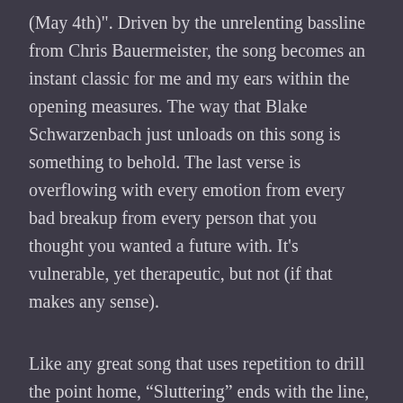(May 4th)". Driven by the unrelenting bassline from Chris Bauermeister, the song becomes an instant classic for me and my ears within the opening measures. The way that Blake Schwarzenbach just unloads on this song is something to behold. The last verse is overflowing with every emotion from every bad breakup from every person that you thought you wanted a future with. It's vulnerable, yet therapeutic, but not (if that makes any sense).
Like any great song that uses repetition to drill the point home, “Sluttering” ends with the line, “if you hear this song a hundred times it still won’t be enough”. It might not be one hundred listens